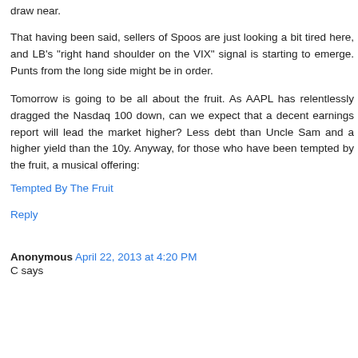draw near.
That having been said, sellers of Spoos are just looking a bit tired here, and LB's "right hand shoulder on the VIX" signal is starting to emerge. Punts from the long side might be in order.
Tomorrow is going to be all about the fruit. As AAPL has relentlessly dragged the Nasdaq 100 down, can we expect that a decent earnings report will lead the market higher? Less debt than Uncle Sam and a higher yield than the 10y. Anyway, for those who have been tempted by the fruit, a musical offering:
Tempted By The Fruit
Reply
Anonymous April 22, 2013 at 4:20 PM
C says